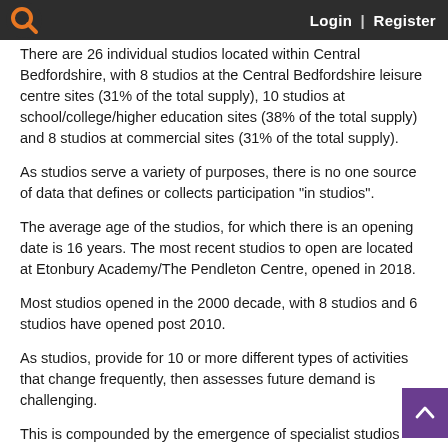Login | Register
There are 26 individual studios located within Central Bedfordshire, with 8 studios at the Central Bedfordshire leisure centre sites (31% of the total supply), 10 studios at school/college/higher education sites (38% of the total supply) and 8 studios at commercial sites (31% of the total supply).
As studios serve a variety of purposes, there is no one source of data that defines or collects participation "in studios".
The average age of the studios, for which there is an opening date is 16 years. The most recent studios to open are located at Etonbury Academy/The Pendleton Centre, opened in 2018.
Most studios opened in the 2000 decade, with 8 studios and 6 studios have opened post 2010.
As studios, provide for 10 or more different types of activities that change frequently, then assesses future demand is challenging.
This is compounded by the emergence of specialist studios